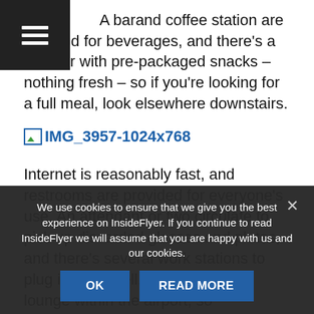[Figure (other): Hamburger menu icon button (dark background with three white lines)]
A bar and coffee station are on hand for beverages, and there's a counter with pre-packaged snacks – nothing fresh – so if you're looking for a full meal, look elsewhere downstairs.
[Figure (other): Broken image placeholder link labeled IMG_3957-1024x768]
Internet is reasonably fast, and restrooms are provided for everyone's use. An attendant or two circulate to pick up discarded glasses and plates, and there's several work stations to plug into, as well. This is the only lounge within the airport, so considering that's it out of the chaos in the gate area itself, you'll find this a nice way to relax before your flight.
We use cookies to ensure that we give you the best experience on InsideFlyer. If you continue to read InsideFlyer we will assume that you are happy with us and our cookies.